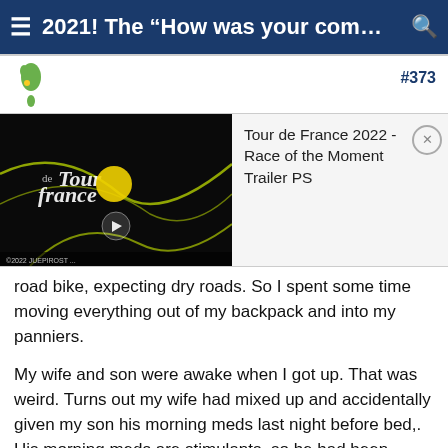≡ 2021! The "How was your comm... 🔍
#373
[Figure (screenshot): Video thumbnail for Tour de France 2022 - Race of the Moment Trailer PS, showing dark background with Tour de France logo and yellow play button]
Tour de France 2022 - Race of the Moment Trailer PS
road bike, expecting dry roads. So I spent some time moving everything out of my backpack and into my panniers.
My wife and son were awake when I got up. That was weird. Turns out my wife had mixed up and accidentally given my son his morning meds last night before bed,. His morning meds are stimulants, so he had been awake since midnight. My wife felt guilty about it so she got up early and was taking him out to breakfast before they were coming back